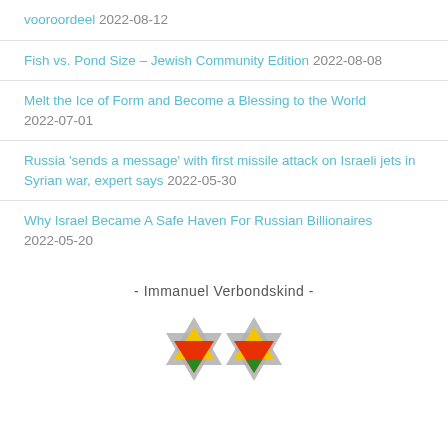vooroordeel 2022-08-12
Fish vs. Pond Size – Jewish Community Edition 2022-08-08
Melt the Ice of Form and Become a Blessing to the World 2022-07-01
Russia 'sends a message' with first missile attack on Israeli jets in Syrian war, expert says 2022-05-30
Why Israel Became A Safe Haven For Russian Billionaires 2022-05-20
- Immanuel Verbondskind -
[Figure (logo): Star of David logo with colored triangles in yellow, red, green and grey]